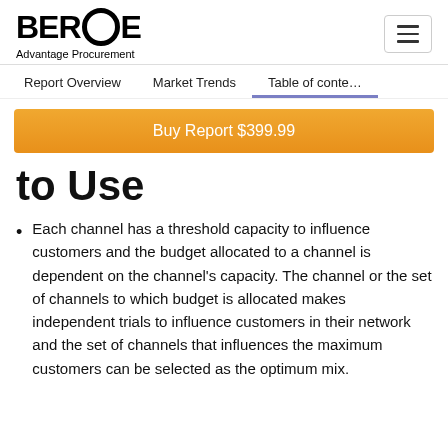BEROE Advantage Procurement
Report Overview | Market Trends | Table of contents
Buy Report $399.99
to Use
Each channel has a threshold capacity to influence customers and the budget allocated to a channel is dependent on the channel's capacity. The channel or the set of channels to which budget is allocated makes independent trials to influence customers in their network and the set of channels that influences the maximum customers can be selected as the optimum mix.